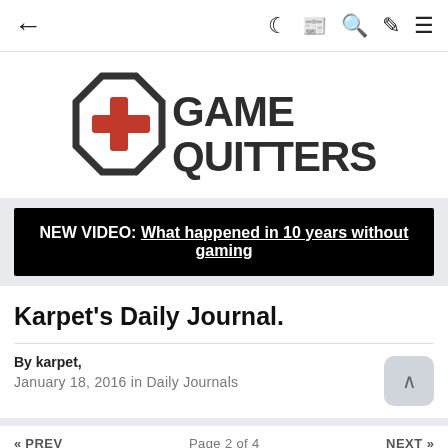← 🌙 📰 🔍 🖌 ≡
[Figure (logo): Game Quitters logo: dark octagon with red controller cross icon, next to bold text 'GAME QUITTERS']
NEW VIDEO: What happened in 10 years without gaming
Karpet's Daily Journal.
By karpet, January 18, 2016 in Daily Journals
« PREV   Page 2 of 4   NEXT »